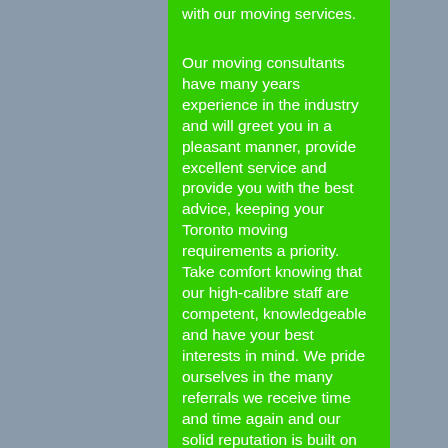with our moving services.
Our moving consultants have many years experience in the industry and will greet you in a pleasant manner, provide excellent service and provide you with the best advice, keeping your Toronto moving requirements a priority. Take comfort knowing that our high-calibre staff are competent, knowledgeable and have your best interests in mind. We pride ourselves in the many referrals we receive time and time again and our solid reputation is built on the thousands of residential and commercial moves we've done over the years.